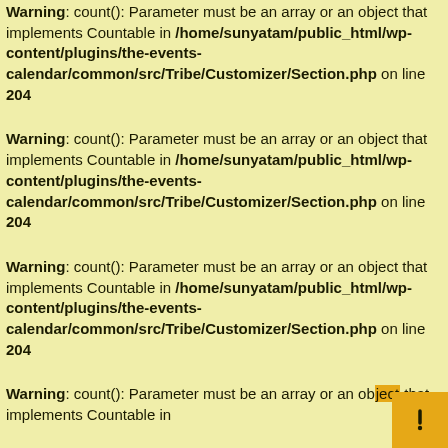Warning: count(): Parameter must be an array or an object that implements Countable in /home/sunyatam/public_html/wp-content/plugins/the-events-calendar/common/src/Tribe/Customizer/Section.php on line 204
Warning: count(): Parameter must be an array or an object that implements Countable in /home/sunyatam/public_html/wp-content/plugins/the-events-calendar/common/src/Tribe/Customizer/Section.php on line 204
Warning: count(): Parameter must be an array or an object that implements Countable in /home/sunyatam/public_html/wp-content/plugins/the-events-calendar/common/src/Tribe/Customizer/Section.php on line 204
Warning: count(): Parameter must be an array or an object that implements Countable in